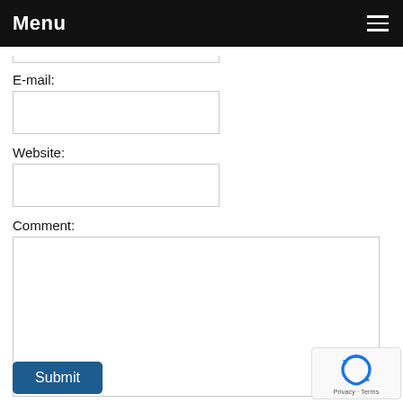Menu
E-mail:
Website:
Comment:
Submit